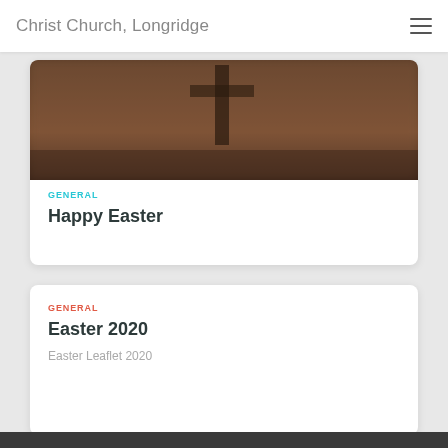Christ Church, Longridge
[Figure (photo): Blurry outdoor photo with dark brown tones, possibly a foggy landscape or silhouette of a tree or cross]
GENERAL
Happy Easter
GENERAL
Easter 2020
Easter Leaflet 2020